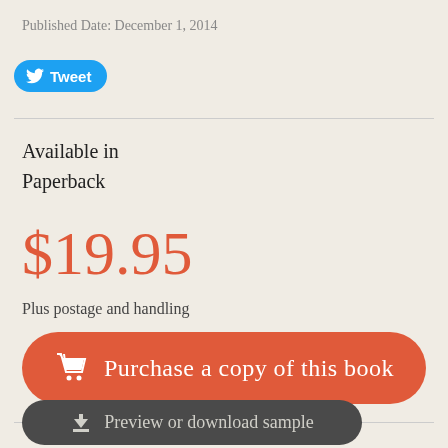Published Date: December 1, 2014
[Figure (other): Tweet button with Twitter bird icon]
Available in
Paperback
$19.95
Plus postage and handling
[Figure (other): Purchase a copy of this book button with shopping cart icon]
[Figure (other): Preview or download sample button with download arrow icon]